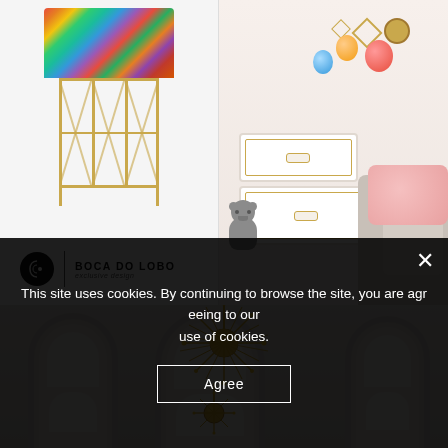[Figure (photo): Colorful decorative cabinet with multicolored mosaic top and gold geometric frame legs, displayed on white background with Boca Do Lobo exclusive design logo below]
[Figure (photo): Children's bedroom with white and gold drawers/jewelry boxes, stuffed bear toy, balloon and geometric shape wall decorations]
[Figure (photo): Interior room with large arched windows and gold sputnik chandelier pendant lights hanging from ceiling]
This site uses cookies. By continuing to browse the site, you are agreeing to our use of cookies.
Agree